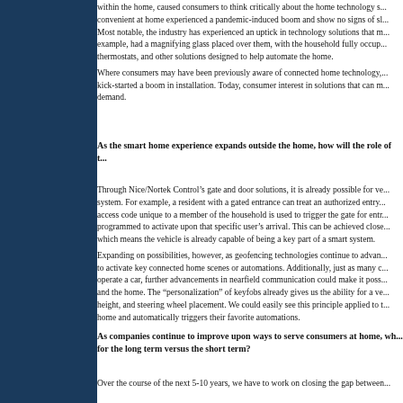within the home, caused consumers to think critically about the home technology s... convenient at home experienced a pandemic-induced boom and show no signs of sl... Most notable, the industry has experienced an uptick in technology solutions that m... example, had a magnifying glass placed over them, with the household fully occup... thermostats, and other solutions designed to help automate the home. Where consumers may have been previously aware of connected home technology,... kick-started a boom in installation. Today, consumer interest in solutions that can m... demand.
As the smart home experience expands outside the home, how will the role of t...
Through Nice/Nortek Control’s gate and door solutions, it is already possible for ve... system. For example, a resident with a gated entrance can treat an authorized entry... access code unique to a member of the household is used to trigger the gate for entr... programmed to activate upon that specific user’s arrival. This can be achieved close... which means the vehicle is already capable of being a key part of a smart system. Expanding on possibilities, however, as geofencing technologies continue to advan... to activate key connected home scenes or automations. Additionally, just as many c... operate a car, further advancements in nearfield communication could make it poss... and the home. The “personalization” of keyfobs already gives us the ability for a ve... height, and steering wheel placement. We could easily see this principle applied to t... home and automatically triggers their favorite automations.
As companies continue to improve upon ways to serve consumers at home, wh... for the long term versus the short term?
Over the course of the next 5-10 years, we have to work on closing the gap between...